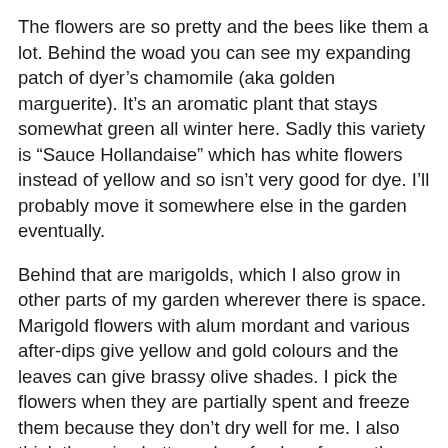The flowers are so pretty and the bees like them a lot. Behind the woad you can see my expanding patch of dyer’s chamomile (aka golden marguerite). It’s an aromatic plant that stays somewhat green all winter here. Sadly this variety is “Sauce Hollandaise” which has white flowers instead of yellow and so isn’t very good for dye. I’ll probably move it somewhere else in the garden eventually.
Behind that are marigolds, which I also grow in other parts of my garden wherever there is space. Marigold flowers with alum mordant and various after-dips give yellow and gold colours and the leaves can give brassy olive shades. I pick the flowers when they are partially spent and freeze them because they don’t dry well for me. I also think they give better colour fresh or frozen than when they are dried. Marigolds are easy to grow or purchase from nurseries and the seeds are very easy to save. Here they are bothered by slugs and snails which can totally decimate a plant if it’s not protected with slug bait. We try to use an organic type.
Beyond the marigolds are more Japanese indigo which I won’t pick so as to let them flower as early as possible. I